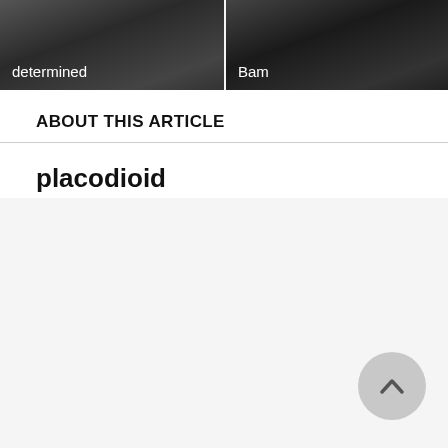[Figure (photo): Two dark image thumbnails side by side. Left image labeled 'determined', right image labeled 'Bam'.]
ABOUT THIS ARTICLE
placodioid
Updated   About encyclopedia.com content